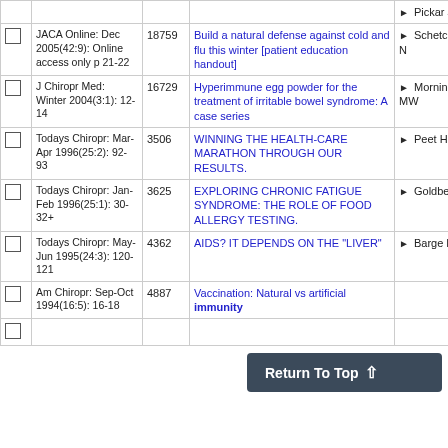|  | Journal | ID | Title | Author |
| --- | --- | --- | --- | --- |
|  |  |  |  | Pickar JG |
|  | JACA Online: Dec 2005(42:9): Online access only p 21-22 | 18759 | Build a natural defense against cold and flu this winter [patient education handout] | Schetchikova N |
|  | J Chiropr Med: Winter 2004(3:1): 12-14 | 16729 | Hyperimmune egg powder for the treatment of irritable bowel syndrome: A case series | Morningstar MW |
|  | Todays Chiropr: Mar-Apr 1996(25:2): 92-93 | 3506 | WINNING THE HEALTH-CARE MARATHON THROUGH OUR RESULTS. | Peet HK |
|  | Todays Chiropr: Jan-Feb 1996(25:1): 30-32+ | 3625 | EXPLORING CHRONIC FATIGUE SYNDROME: THE ROLE OF FOOD ALLERGY TESTING. | Goldberg PA |
|  | Todays Chiropr: May-Jun 1995(24:3): 120-121 | 4362 | AIDS? IT DEPENDS ON THE "LIVER" | Barge FH |
|  | Am Chiropr: Sep-Oct 1994(16:5): 16-18 | 4887 | Vaccination: Natural vs artificial immunity |  |
|  |  |  |  |  |